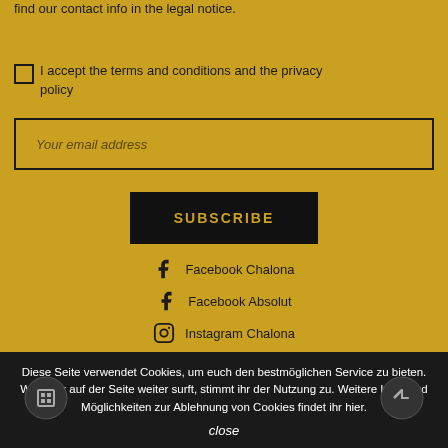find our contact info in the legal notice.
I accept the terms and conditions and the privacy policy
Your email address
SUBSCRIBE
Facebook Chalona
Facebook Absolut
Instagram Chalona
Diese Seite verwendet Cookies, um euch den bestmöglichen Service zu bieten. Wenn ihr auf der Seite weiter surft, stimmt ihr der Nutzung zu. Weitere Infos und Möglichkeiten zur Ablehnung von Cookies findet ihr hier.
close